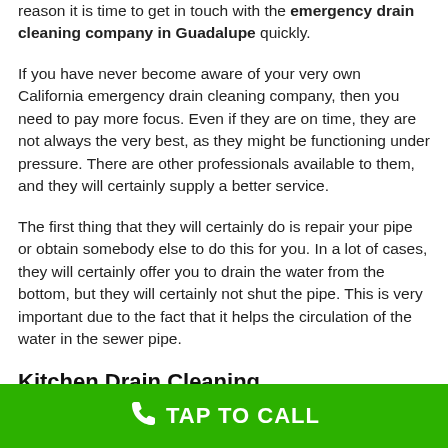reason it is time to get in touch with the emergency drain cleaning company in Guadalupe quickly.
If you have never become aware of your very own California emergency drain cleaning company, then you need to pay more focus. Even if they are on time, they are not always the very best, as they might be functioning under pressure. There are other professionals available to them, and they will certainly supply a better service.
The first thing that they will certainly do is repair your pipe or obtain somebody else to do this for you. In a lot of cases, they will certainly offer you to drain the water from the bottom, but they will certainly not shut the pipe. This is very important due to the fact that it helps the circulation of the water in the sewer pipe.
Kitchen Drain Cleaning
TAP TO CALL